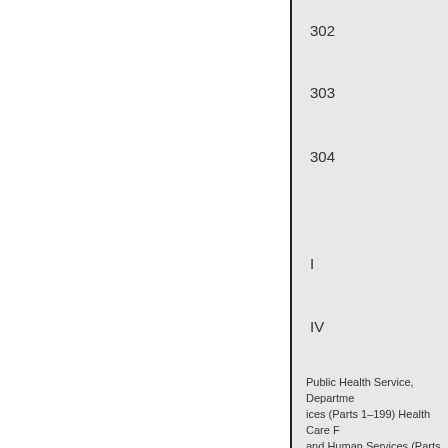302
303
304
I
IV
Public Health Service, Department of ices (Parts 1–199) Health Care F and Human Services (Parts 400_ and Human Services (Parts 1000
V